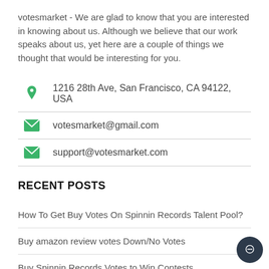votesmarket - We are glad to know that you are interested in knowing about us. Although we believe that our work speaks about us, yet here are a couple of things we thought that would be interesting for you.
1216 28th Ave, San Francisco, CA 94122, USA
votesmarket@gmail.com
support@votesmarket.com
RECENT POSTS
How To Get Buy Votes On Spinnin Records Talent Pool?
Buy amazon review votes Down/No Votes
Buy Spinnin Records Votes to Win Contests